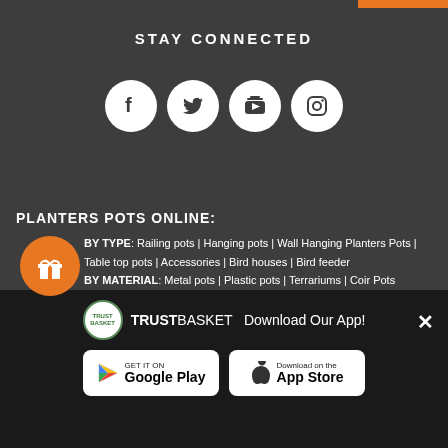STAY CONNECTED
[Figure (illustration): Four social media icons in white circles: Facebook, Twitter, YouTube, Instagram on dark grey background]
PLANTERS POTS ONLINE:
BY TYPE: Railing pots | Hanging pots | Wall Hanging Planters Pots | Table top pots | Accessories | Bird houses | Bird feeder BY MATERIAL: Metal pots | Plastic pots | Terrariums | Coir Pots
[Figure (logo): TrustBasket logo with text: TRUSTBASKET Download Our App!]
[Figure (illustration): Google Play and App Store download buttons]